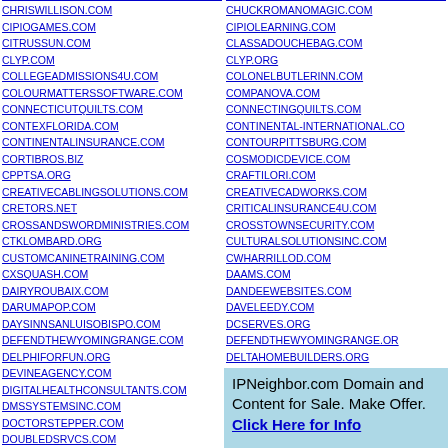CHRISWILLISON.COM
CIPIOGAMES.COM
CITRUSSUN.COM
CLYP.COM
COLLEGEADMISSIONS4U.COM
COLOURMATTERSSOFTWARE.COM
CONNECTICUTQUILTS.COM
CONTEXFLORIDA.COM
CONTINENTALINSURANCE.COM
CORTIBROS.BIZ
CPPTSA.ORG
CREATIVECABLINGSOLUTIONS.COM
CRETORS.NET
CROSSANDSWORDMINISTRIES.COM
CTKLOMBARD.ORG
CUSTOMCANINETRAINING.COM
CXSQUASH.COM
DAIRYROUBAIX.COM
DARUMAPOP.COM
DAYSINNSANLUISOBISPO.COM
DEFENDTHEWYOMINGRANGE.COM
DELPHIFORFUN.ORG
DEVINEAGENCY.COM
DIGITALHEALTHCONSULTANTS.COM
DMSSYSTEMSINC.COM
DOCTORSTEPPER.COM
DOUBLEDSRVCS.COM
DREWSHEPPARD.NET
CHUCKROMANOMAGIC.COM
CIPIOLEARNING.COM
CLASSADOUCHEBAG.COM
CLYP.ORG
COLONELBUTLERINN.COM
COMPANOVA.COM
CONNECTINGQUILTS.COM
CONTINENTAL-INTERNATIONAL.CO
CONTOURPITTSBURG.COM
COSMODICDEVICE.COM
CRAFTILORI.COM
CREATIVECADWORKS.COM
CRITICALINSURANCE4U.COM
CROSSTOWNSECURITY.COM
CULTURALSOLUTIONSINC.COM
CWHARRILLOD.COM
DAAMS.COM
DANDEEWEBSITES.COM
DAVELEEDY.COM
DCSERVES.ORG
DEFENDTHEWYOMINGRANGE.OR
DELTAHOMEBUILDERS.ORG
DEVINPOWERS.COM
IPNeighbor.com Domain and Content for Sale. Make Offer. Click Here for Info